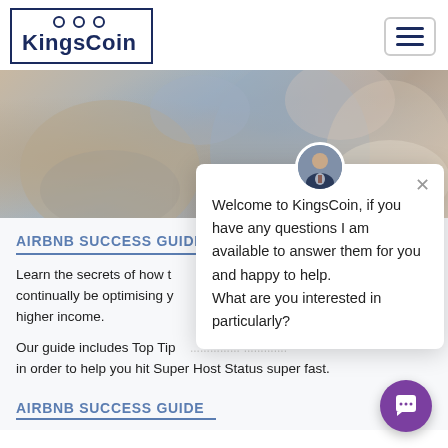KingsCoin
[Figure (photo): Hero photo showing two people (a man and a woman) in a consultation-style setting, soft focus background]
AIRBNB SUCCESS GUIDE
Learn the secrets of how to continually be optimising your higher income.
Our guide includes Top Tips, checklists and expert insights all in order to help you hit Super Host Status super fast.
[Figure (screenshot): Chat popup widget with avatar photo of a man in a suit. Text: Welcome to KingsCoin, if you have any questions I am available to answer them for you and happy to help. What are you interested in particularly?]
AIRBNB SUCCESS GUIDE